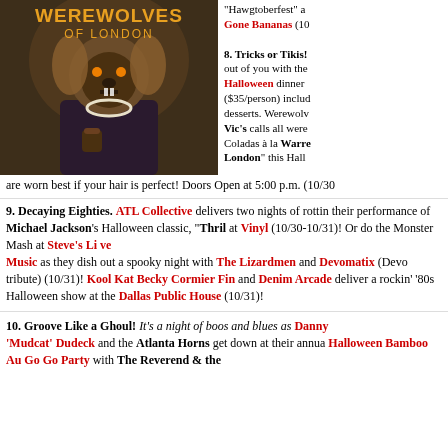[Figure (photo): Movie poster / promotional image for Werewolves of London showing a person in a werewolf costume wearing a suit and beaded necklace, holding a tiki drink, seated in a wicker chair with decorative background]
"Hawgtoberfest" at Gone Bananas (10/...
8. Tricks or Tikis! ... out of you with the Halloween dinner ($35/person) includ... desserts. Werewolv... Vic's calls all were... Coladas à la Warren London" this Hallo... are worn best if your hair is perfect! Doors Open at 5:00 p.m. (10/30...
9. Decaying Eighties. ATL Collective delivers two nights of rottin... their performance of Michael Jackson's Halloween classic, "Thril... at Vinyl (10/30-10/31)! Or do the Monster Mash at Steve's Live Music as they dish out a spooky night with The Lizardmen and Devomatix (Devo tribute) (10/31)! Kool Kat Becky Cormier Fin... and Denim Arcade deliver a rockin' '80s Halloween show at the Dallas Public House (10/31)!
10. Groove Like a Ghoul! It's a night of boos and blues as Danny 'Mudcat' Dudeck and the Atlanta Horns get down at their annua... Halloween Bamboo Au Go Go Party with The Reverend & the